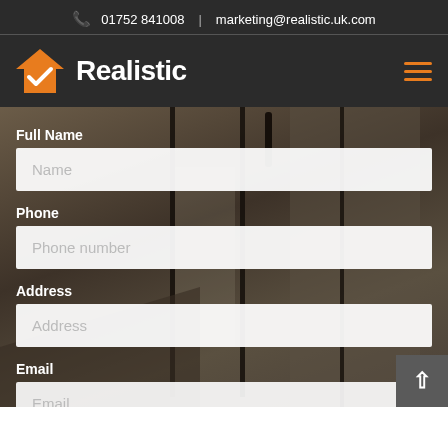📞 01752 841008   |   marketing@realistic.uk.com
[Figure (logo): Realistic company logo with orange house checkmark icon and white bold text 'Realistic']
Full Name
Name
Phone
Phone number
Address
Address
Email
Email